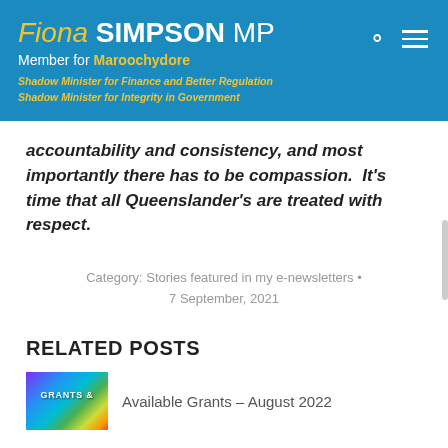Fiona SIMPSON MP Member for Maroochydore Shadow Minister for Finance and Better Regulation Shadow Minister for Integrity in Government
accountability and consistency, and most importantly there has to be compassion.  It's time that all Queenslander's are treated with respect.
Category: Stories featured in my e-newsletters • 7 September, 2021
RELATED POSTS
Available Grants – August 2022